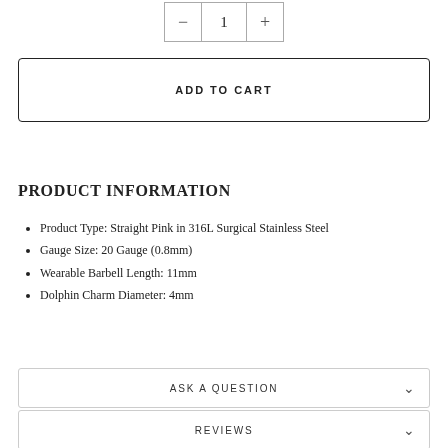[Figure (other): Quantity selector stepper showing minus button, value 1, and plus button]
ADD TO CART
PRODUCT INFORMATION
Product Type: Straight Pink in 316L Surgical Stainless Steel
Gauge Size: 20 Gauge (0.8mm)
Wearable Barbell Length: 11mm
Dolphin Charm Diameter: 4mm
ASK A QUESTION
REVIEWS